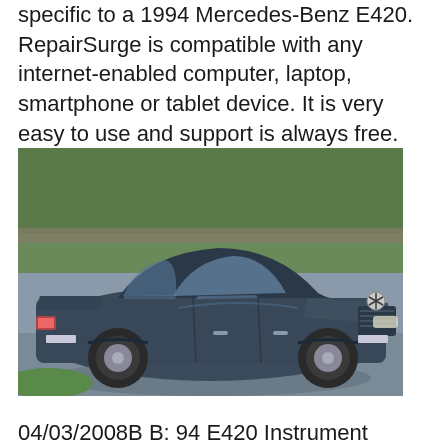specific to a 1994 Mercedes-Benz E420. RepairSurge is compatible with any internet-enabled computer, laptop, smartphone or tablet device. It is very easy to use and support is always free.
[Figure (photo): Photo of a dark-colored 1994 Mercedes-Benz E420 sedan parked on a driveway with trees in the background.]
04/03/2008B B: 94 E420 Instrument